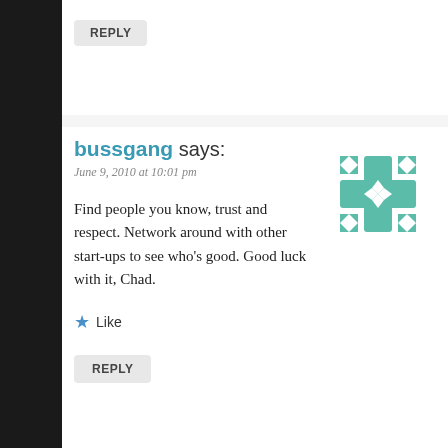REPLY
bussgang says:
June 9, 2010 at 10:01 pm
[Figure (illustration): Teal geometric star/cross avatar icon for user bussgang]
Find people you know, trust and respect. Network around with other start-ups to see who's good. Good luck with it, Chad.
Like
REPLY
Chad Reist says:
[Figure (illustration): Dark teal geometric star/cross avatar icon for user Chad Reist, partially visible]